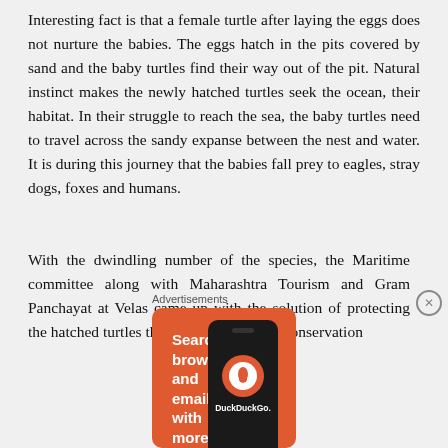Interesting fact is that a female turtle after laying the eggs does not nurture the babies. The eggs hatch in the pits covered by sand and the baby turtles find their way out of the pit. Natural instinct makes the newly hatched turtles seek the ocean, their habitat. In their struggle to reach the sea, the baby turtles need to travel across the sandy expanse between the nest and water. It is during this journey that the babies fall prey to eagles, stray dogs, foxes and humans.
With the dwindling number of the species, the Maritime committee along with Maharashtra Tourism and Gram Panchayat at Velas came up with the solution of protecting the hatched turtles thus working towards conservation
Advertisements
[Figure (infographic): DuckDuckGo advertisement banner showing 'Search, browse, and email with more privacy. All in One Free App' with DuckDuckGo logo on a smartphone against an orange background.]